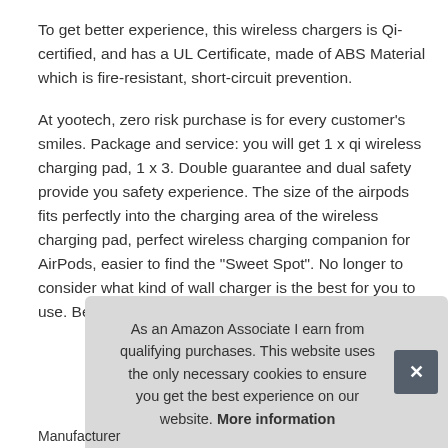To get better experience, this wireless chargers is Qi-certified, and has a UL Certificate, made of ABS Material which is fire-resistant, short-circuit prevention.
At yootech, zero risk purchase is for every customer's smiles. Package and service: you will get 1 x qi wireless charging pad, 1 x 3. Double guarantee and dual safety provide you safety experience. The size of the airpods fits perfectly into the charging area of the wireless charging pad, perfect wireless charging companion for AirPods, easier to find the "Sweet Spot". No longer to consider what kind of wall charger is the best for you to use. Besides that, surge protection, we would like
As an Amazon Associate I earn from qualifying purchases. This website uses the only necessary cookies to ensure you get the best experience on our website. More information